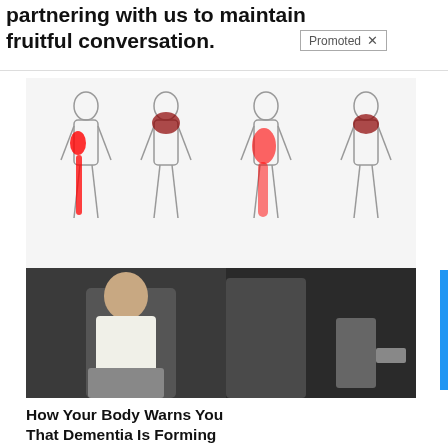partnering with us to maintain fruitful conversation.
Promoted ×
[Figure (illustration): Medical illustration showing four human body outlines with red highlighted areas indicating sciatic nerve pain pathways along the leg and hip.]
Suffering From Chronic Sciatic Nerve Pain? Here's A Secret You Need To Know
🔥 76,720
[Figure (photo): Photo of a person in a white robe sitting hunched over on the edge of a bed in a dimly lit room, suggesting illness or fatigue.]
How Your Body Warns You That Dementia Is Forming
🔥 46,211